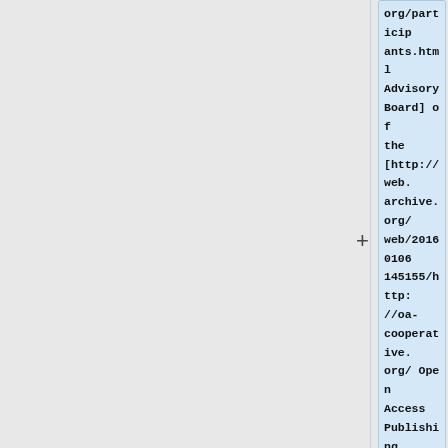org/participants.html Advisory Board] of the [http://web.archive.org/web/20160106145155/http://oa-cooperative.org/ Open Access Publishing Cooperative Study] <!-- since 6/15/15 -->
** Member of the [http://blog